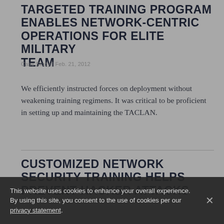TARGETED TRAINING PROGRAM ENABLES NETWORK-CENTRIC OPERATIONS FOR ELITE MILITARY TEAM
Case Study | Feb. 21, 2012
We efficiently instructed forces on deployment without weakening training regimens. It was critical to be proficient in setting up and maintaining the TACLAN.
CUSTOMIZED NETWORK SECURITY TRAINING HELPS PREVENT HACKER ATTACKS
This website uses cookies to enhance your overall experience. By using this site, you consent to the use of cookies per our privacy statement.